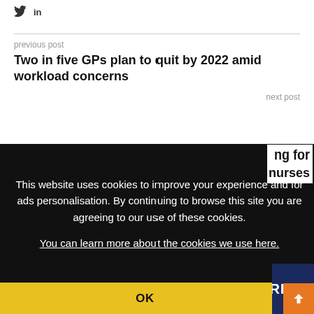Twitter LinkedIn social icons
previous post
Two in five GPs plan to quit by 2022 amid workload concerns
next post
...ng for nurses (partial)
This website uses cookies to improve your experience and for ads personalisation. By continuing to browse this site you are agreeing to our use of these cookies. You can learn more about the cookies we use here.
OK